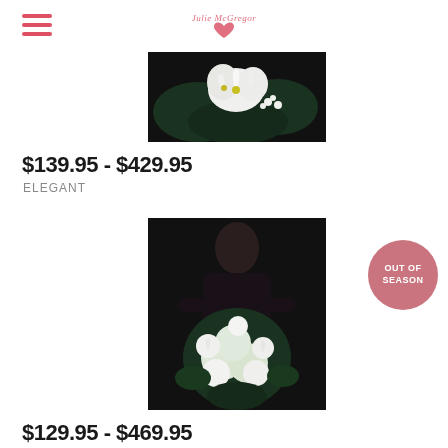[Figure (logo): Julie McGregor Flowers cursive logo with pink heart]
[Figure (photo): White lily and tropical flower bouquet on dark background]
$139.95 - $429.95
ELEGANT
[Figure (photo): Woman in black holding large white hydrangea and rose bouquet on dark background, with OUT OF SEASON badge]
$129.95 - $469.95